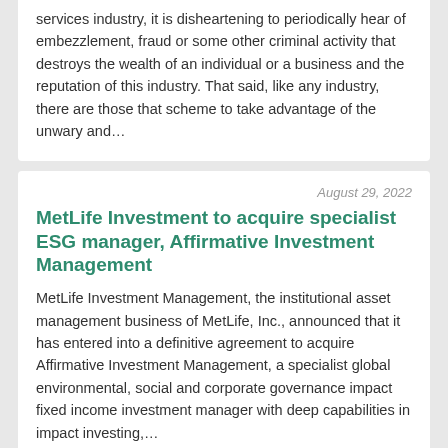services industry, it is disheartening to periodically hear of embezzlement, fraud or some other criminal activity that destroys the wealth of an individual or a business and the reputation of this industry. That said, like any industry, there are those that scheme to take advantage of the unwary and…
August 29, 2022
MetLife Investment to acquire specialist ESG manager, Affirmative Investment Management
MetLife Investment Management, the institutional asset management business of MetLife, Inc., announced that it has entered into a definitive agreement to acquire Affirmative Investment Management, a specialist global environmental, social and corporate governance impact fixed income investment manager with deep capabilities in impact investing,…
August 29, 2022
This is how much money you need to raise a child